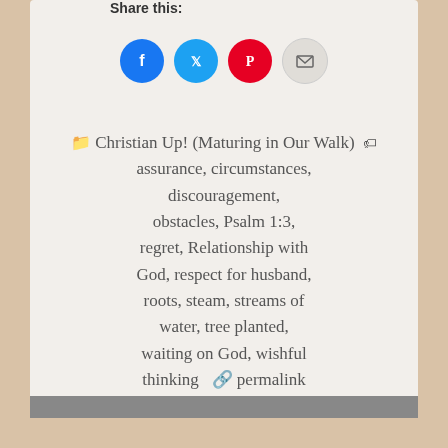Share this:
[Figure (illustration): Social share buttons: Facebook (blue circle), Twitter (cyan circle), Pinterest (red circle), Email (gray circle) with respective icons]
📁 Christian Up! (Maturing in Our Walk) 🏷 assurance, circumstances, discouragement, obstacles, Psalm 1:3, regret, Relationship with God, respect for husband, roots, steam, streams of water, tree planted, waiting on God, wishful thinking 🔗 permalink